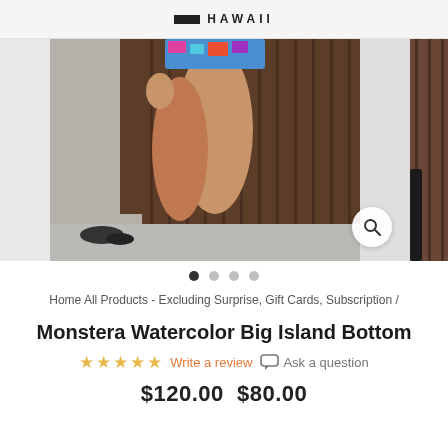HAWAII
[Figure (photo): Product photo of a woman wearing a colorful swimsuit bottom standing in front of a brown wooden wall. Carousel with 4 slides, first active. Zoom button visible bottom right.]
Home All Products - Excluding Surprise, Gift Cards, Subscription /
Monstera Watercolor Big Island Bottom
☆☆☆☆☆ Write a review 💬 Ask a question
$120.00  $80.00